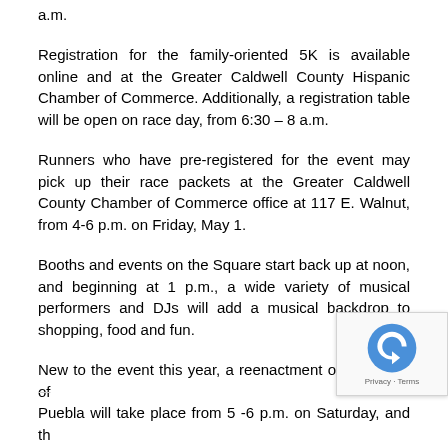a.m.
Registration for the family-oriented 5K is available online and at the Greater Caldwell County Hispanic Chamber of Commerce. Additionally, a registration table will be open on race day, from 6:30 – 8 a.m.
Runners who have pre-registered for the event may pick up their race packets at the Greater Caldwell County Chamber of Commerce office at 117 E. Walnut, from 4-6 p.m. on Friday, May 1.
Booths and events on the Square start back up at noon, and beginning at 1 p.m., a wide variety of musical performers and DJs will add a musical backdrop to shopping, food and fun.
New to the event this year, a reenactment of the Battle of Puebla will take place from 5 -6 p.m. on Saturday, and the dance will feature the award-winning Tejano legends, La from 8:30 p.m. – midnight.